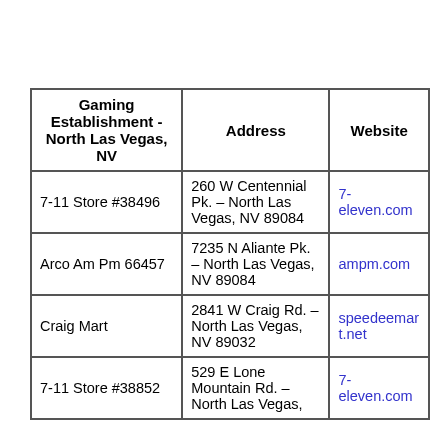| Gaming Establishment - North Las Vegas, NV | Address | Website |
| --- | --- | --- |
| 7-11 Store #38496 | 260 W Centennial Pk. – North Las Vegas, NV 89084 | 7-eleven.com |
| Arco Am Pm 66457 | 7235 N Aliante Pk. – North Las Vegas, NV 89084 | ampm.com |
| Craig Mart | 2841 W Craig Rd. – North Las Vegas, NV 89032 | speedeemart.net |
| 7-11 Store #38852 | 529 E Lone Mountain Rd. – North Las Vegas, | 7-eleven.com |